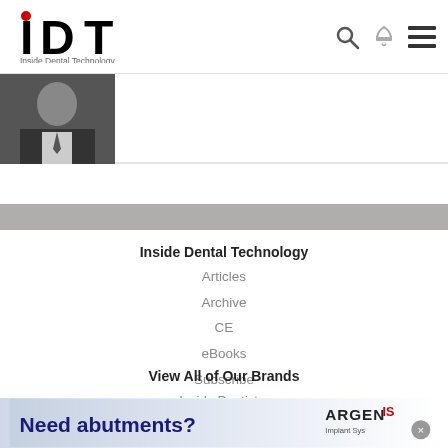[Figure (logo): IDT (Inside Dental Technology) logo with red dot above the I, and tagline 'Inside Dental Technology']
[Figure (photo): Partial photo of a person in dark suit and tie, cropped at edges]
Inside Dental Technology
Articles
Archive
CE
eBooks
Subscribe
View All of Our Brands
Inside Dentistry
[Figure (infographic): Advertisement banner: 'Need abutments?' with Argen Implant Systems logo]